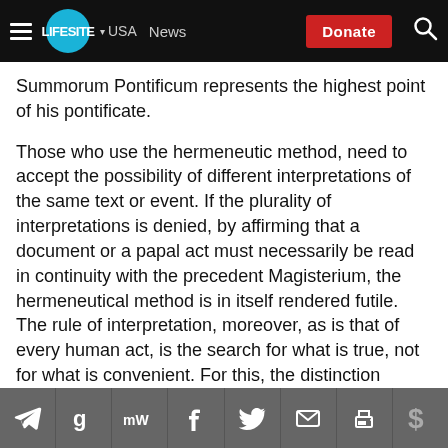LifeSite — USA News — Donate
Summorum Pontificum represents the highest point of his pontificate.
Those who use the hermeneutic method, need to accept the possibility of different interpretations of the same text or event. If the plurality of interpretations is denied, by affirming that a document or a papal act must necessarily be read in continuity with the precedent Magisterium, the hermeneutical method is in itself rendered futile. The rule of interpretation, moreover, as is that of every human act, is the search for what is true, not for what is convenient. For this, the distinction between the infallible and the non-infallible Magisterium, that
Share icons: Telegram, Google, MeWe, Facebook, Twitter, Email, Print, Donate